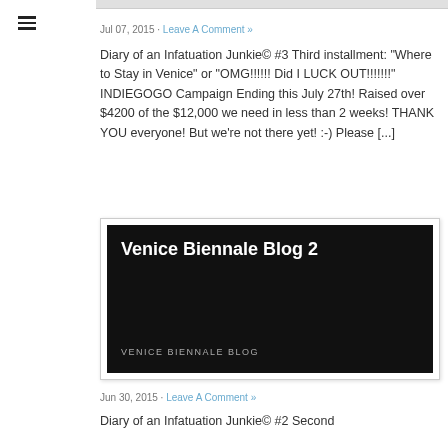Jul 07, 2015 · Leave A Comment »
Diary of an Infatuation Junkie© #3 Third installment: "Where to Stay in Venice" or "OMG!!!!!! Did I LUCK OUT!!!!!!!" INDIEGOGO Campaign Ending this July 27th! Raised over $4200 of the $12,000 we need in less than 2 weeks! THANK YOU everyone! But we're not there yet! :-) Please [...]
[Figure (screenshot): Dark thumbnail image with white bold text 'Venice Biennale Blog 2' and smaller uppercase text 'VENICE BIENNALE BLOG' on a black background]
Jun 30, 2015 · Leave A Comment »
Diary of an Infatuation Junkie© #2 Second